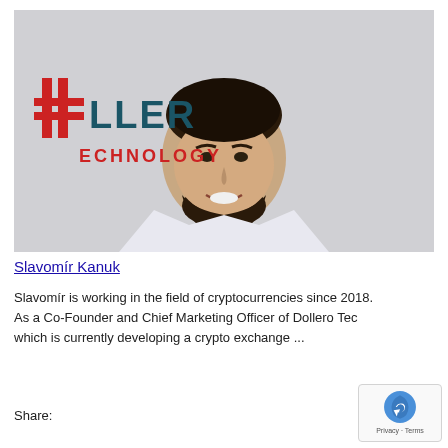[Figure (photo): Professional headshot of Slavomír Kanuk smiling, wearing a white shirt, standing in front of a Dollero Technology branded backdrop with the company logo visible.]
Slavomír Kanuk
Slavomír is working in the field of cryptocurrencies since 2018. As a Co-Founder and Chief Marketing Officer of Dollero Tec which is currently developing a crypto exchange ...
Share: